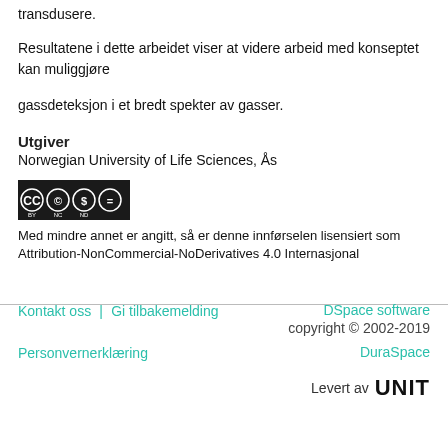transdusere.
Resultatene i dette arbeidet viser at videre arbeid med konseptet kan muliggjøre
gassdeteksjon i et bredt spekter av gasser.
Utgiver
Norwegian University of Life Sciences, Ås
[Figure (logo): Creative Commons BY NC ND license badge]
Med mindre annet er angitt, så er denne innførselen lisensiert som Attribution-NonCommercial-NoDerivatives 4.0 Internasjonal
Kontakt oss | Gi tilbakemelding | DSpace software copyright © 2002-2019 | DuraSpace | Levert av UNIT